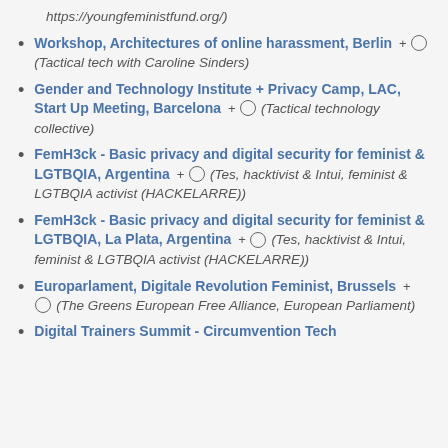https://youngfeministfund.org/)
Workshop, Architectures of online harassment, Berlin + (Tactical tech with Caroline Sinders)
Gender and Technology Institute + Privacy Camp, LAC, Start Up Meeting, Barcelona + (Tactical technology collective)
FemH3ck - Basic privacy and digital security for feminist & LGTBQIA, Argentina + (Tes, hacktivist & Intui, feminist & LGTBQIA activist (HACKELARRE))
FemH3ck - Basic privacy and digital security for feminist & LGTBQIA, La Plata, Argentina + (Tes, hacktivist & Intui, feminist & LGTBQIA activist (HACKELARRE))
Europarlament, Digitale Revolution Feminist, Brussels + (The Greens European Free Alliance, European Parliament)
Digital Trainers Summit - Circumvention Tech